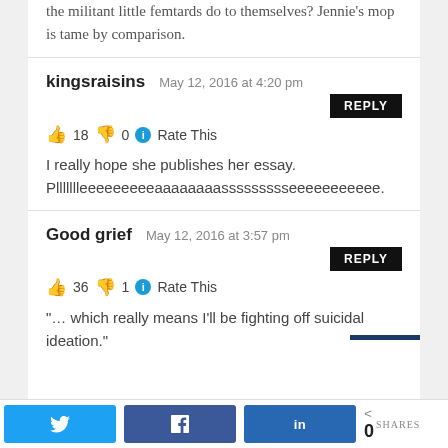the militant little femtards do to themselves? Jennie's mop is tame by comparison.
kingsraisins   May 12, 2016 at 4:20 pm
👍 18 👎 0 ℹ Rate This
I really hope she publishes her essay. Pllllllleeeeeeeeeaaaaaaaassssssssseeeeeeeeeee.
Good grief   May 12, 2016 at 3:57 pm
👍 36 👎 1 ℹ Rate This
"… which really means I'll be fighting off suicidal ideation."